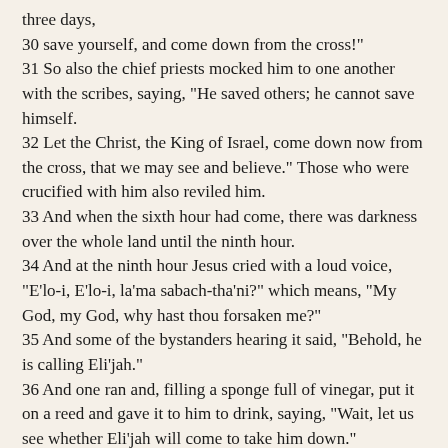three days,
30 save yourself, and come down from the cross!"
31 So also the chief priests mocked him to one another with the scribes, saying, "He saved others; he cannot save himself.
32 Let the Christ, the King of Israel, come down now from the cross, that we may see and believe." Those who were crucified with him also reviled him.
33 And when the sixth hour had come, there was darkness over the whole land until the ninth hour.
34 And at the ninth hour Jesus cried with a loud voice, "E'lo-i, E'lo-i, la'ma sabbach-tha'ni?" which means, "My God, my God, why hast thou forsaken me?"
35 And some of the bystanders hearing it said, "Behold, he is calling Eli'jah."
36 And one ran and, filling a sponge full of vinegar, put it on a reed and gave it to him to drink, saying, "Wait, let us see whether Eli'jah will come to take him down."
37 And Jesus uttered a loud cry, and breathed his last.
38 And the curtain of the temple was torn in two, from top to bottom.
39 And when the centurion, who stood facing him, saw that he thus breathed his last, he said, "Truly this man was the Son of God!"